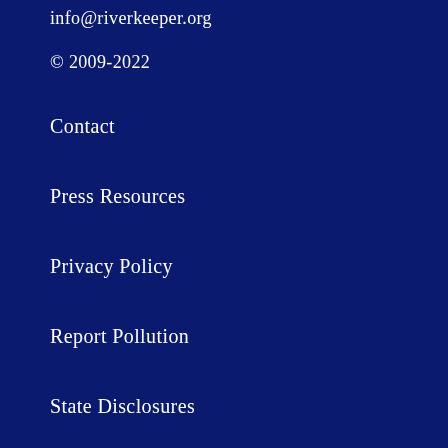info@riverkeeper.org
© 2009-2022
Contact
Press Resources
Privacy Policy
Report Pollution
State Disclosures